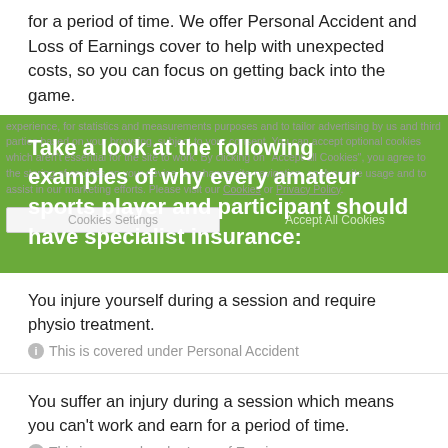for a period of time. We offer Personal Accident and Loss of Earnings cover to help with unexpected costs, so you can focus on getting back into the game.
Take a look at the following examples of why every amateur sports player and participant should have specialist insurance:
You injure yourself during a session and require physio treatment.
This is covered under Personal Accident
You suffer an injury during a session which means you can't work and earn for a period of time.
This is covered under Loss of Earnings